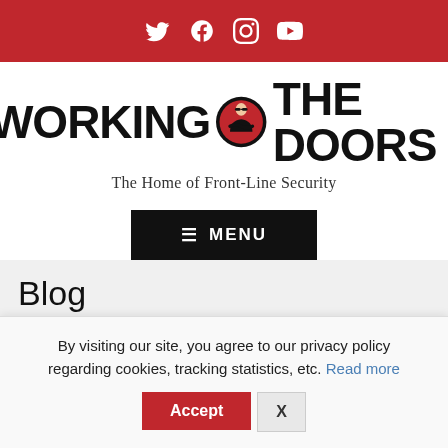Social media icons: Twitter, Facebook, Instagram, YouTube
[Figure (logo): Working The Doors logo with bouncer figure in red circle between text. Tagline: The Home of Front-Line Security]
MENU
Blog
> Security News > Woman assaulted Doorman after being thrown out
By visiting our site, you agree to our privacy policy regarding cookies, tracking statistics, etc. Read more
Accept  X